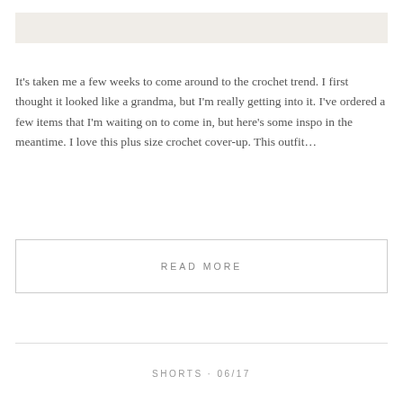It's taken me a few weeks to come around to the crochet trend. I first thought it looked like a grandma, but I'm really getting into it. I've ordered a few items that I'm waiting on to come in, but here's some inspo in the meantime. I love this plus size crochet cover-up. This outfit…
READ MORE
SHORTS · 06/17